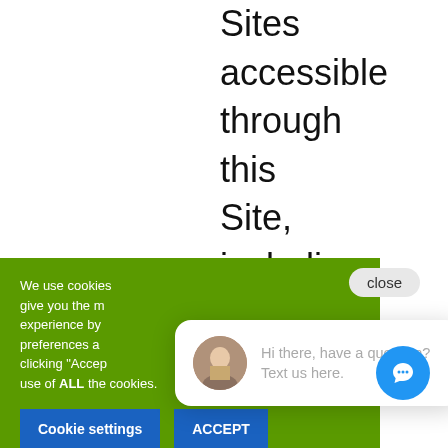Sites accessible through this Site, including our Advertising
[Figure (screenshot): Green cookie consent banner with text 'We use cookies... give you the m... experience by... preferences a... clicking "Accep... use of ALL the cookies.' and two blue buttons: 'Cookie settings' and 'ACCEPT']
[Figure (screenshot): Chat widget bubble with avatar photo of man, text 'Hi there, have a question? Text us here.' and a blue circular chat icon button]
privacy